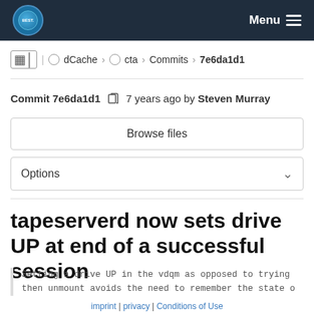BEST. | Menu
dCache > cta > Commits > 7e6da1d1
Commit 7e6da1d1  7 years ago by Steven Murray
Browse files
Options
tapeserverd now sets drive UP at end of a successful session
Setting a drive UP in the vdqm as opposed to trying then unmount avoids the need to remember the state o
parent f6bcb421
imprint | privacy | Conditions of Use